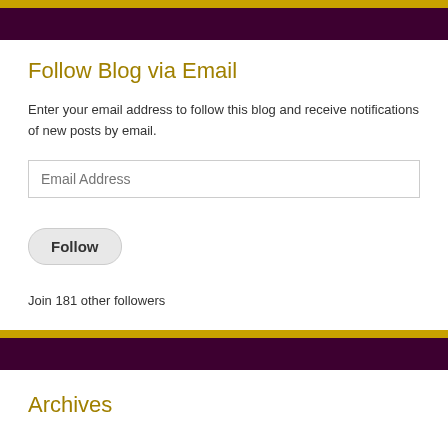Follow Blog via Email
Enter your email address to follow this blog and receive notifications of new posts by email.
Email Address
Follow
Join 181 other followers
Archives